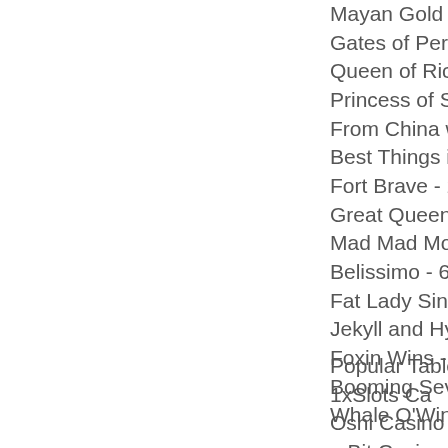Mayan Gold - 552.7
Gates of Persia - 118
Queen of Riches - 53
Princess of Swamp -
From China with Lov
Best Things in Life -
Fort Brave - 235.5 bt
Great Queen Bee - 6
Mad Mad Monkey - 5
Belissimo - 655.4 eth
Fat Lady Sings - 424
Jekyll and Hyde - 21
Foxin Wins - 745.2 b
Booming Seven Delu
Whale O'Winnings -
Popular Table
1xSlots Ca
Oshi Casino
mBit Casino Aztec S
Botchan Casino Col